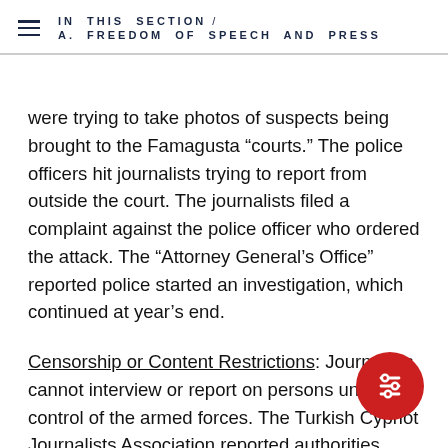IN THIS SECTION / A. FREEDOM OF SPEECH AND PRESS
were trying to take photos of suspects being brought to the Famagusta “courts.” The police officers hit journalists trying to report from outside the court. The journalists filed a complaint against the police officer who ordered the attack. The “Attorney General’s Office” reported police started an investigation, which continued at year’s end.
Censorship or Content Restrictions: Journalists cannot interview or report on persons under control of the armed forces. The Turkish Cypriot Journalists Association reported authorities used these restrictions to prevent journalists from investigating valid subjects, such as suicides or allegations of police torture or